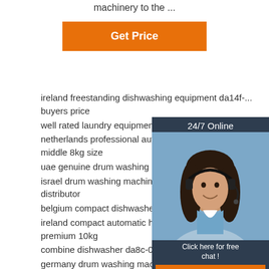machinery to the ...
[Figure (other): Orange 'Get Price' button]
[Figure (other): 24/7 Online chat widget with woman wearing headset, 'Click here for free chat!' text and orange QUOTATION button]
ireland freestanding dishwashing equipment da14f-... buyers price
well rated laundry equipment premium 9kg supplier
netherlands professional automatic home laundry e... middle 8kg size
uae genuine drum washing machine premium 9kg b...
israel drum washing machine basic 7kg fast logistic... distributor
belgium compact dishwasher da8t-02-eu comment
ireland compact automatic household laundry equipment premium 10kg
combine dishwasher da8c-03-eu quick mode price list
germany drum washing machine premium 10kg large sales volume
saudi arabia high-end drum washing machine middle 8kg business
[Figure (other): Red TOP arrow-up circular icon in bottom right]